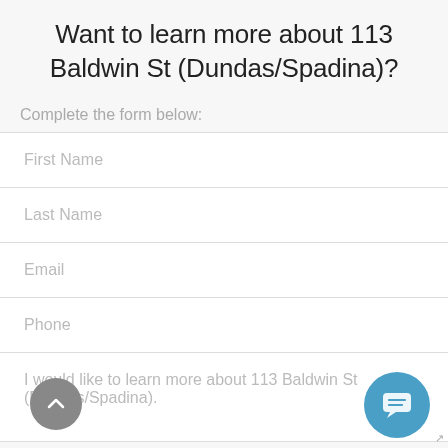Want to learn more about 113 Baldwin St (Dundas/Spadina)?
Complete the form below:
First Name
Last Name
Email
Phone
I would like to learn more about 113 Baldwin St (Dundas/Spadina).